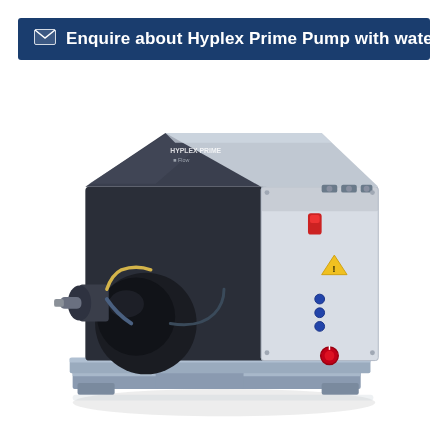✉ Enquire about Hyplex Prime Pump with waterjet systems
[Figure (photo): Hyplex Prime high-pressure pump unit with waterjet systems. Industrial machine with dark grey casing on left side showing pump components, hoses and fittings, and a light grey electrical control panel on the right side with indicator lights and warning label. Unit mounted on a steel pallet/frame.]